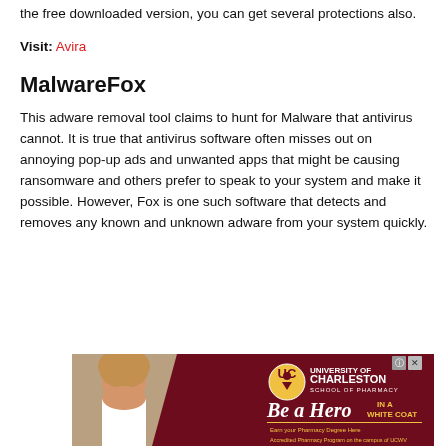the free downloaded version, you can get several protections also.
Visit: Avira
MalwareFox
This adware removal tool claims to hunt for Malware that antivirus cannot. It is true that antivirus software often misses out on annoying pop-up ads and unwanted apps that might be causing ransomware and others prefer to speak to your system and make it possible. However, Fox is one such software that detects and removes any known and unknown adware from your system quickly.
[Figure (photo): University of Charleston School of Pharmacy advertisement showing a woman in a white coat with text 'Be a Hero IN A WHITE COAT' and 'Earn your Pharmacy Degree Here - Accredited Pharmacy Program on the campus of UCWV']